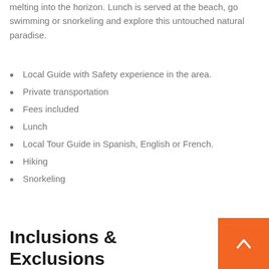melting into the horizon. Lunch is served at the beach, go swimming or snorkeling and explore this untouched natural paradise.
Local Guide with Safety experience in the area.
Private transportation
Fees included
Lunch
Local Tour Guide in Spanish, English or French.
Hiking
Snorkeling
Inclusions & Exclusions